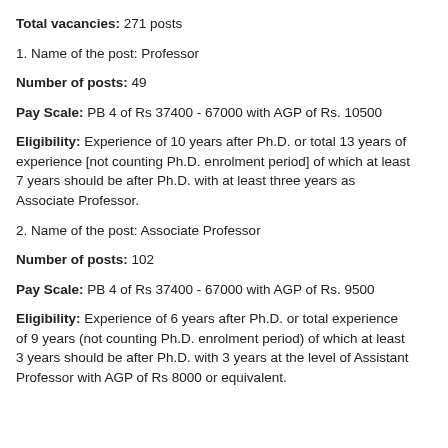Total vacancies: 271 posts
1. Name of the post: Professor
Number of posts: 49
Pay Scale: PB 4 of Rs 37400 - 67000 with AGP of Rs. 10500
Eligibility: Experience of 10 years after Ph.D. or total 13 years of experience [not counting Ph.D. enrolment period] of which at least 7 years should be after Ph.D. with at least three years as Associate Professor.
2. Name of the post: Associate Professor
Number of posts: 102
Pay Scale: PB 4 of Rs 37400 - 67000 with AGP of Rs. 9500
Eligibility: Experience of 6 years after Ph.D. or total experience of 9 years (not counting Ph.D. enrolment period) of which at least 3 years should be after Ph.D. with 3 years at the level of Assistant Professor with AGP of Rs 8000 or equivalent.